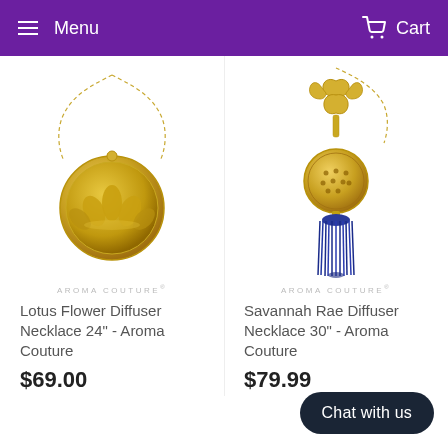Menu   Cart
[Figure (photo): Gold lotus flower diffuser locket necklace with gold chain on white background. Brand watermark: AROMA COUTURE]
Lotus Flower Diffuser Necklace 24" - Aroma Couture
$69.00
[Figure (photo): Gold Savannah Rae diffuser necklace with blue tassel and ornate gold connector on gold chain, white background. Brand watermark: AROMA COUTURE]
Savannah Rae Diffuser Necklace 30" - Aroma Couture
$79.99
Chat with us